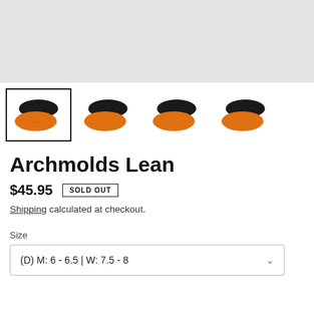[Figure (photo): Main product image area showing shoe insoles - light gray background placeholder]
[Figure (photo): Four thumbnail images of Archmolds Lean shoe insoles, showing black top and orange patterned bottom. First thumbnail is selected with a border.]
Archmolds Lean
$45.95  SOLD OUT
Shipping calculated at checkout.
Size
(D) M: 6 - 6.5 | W: 7.5 - 8